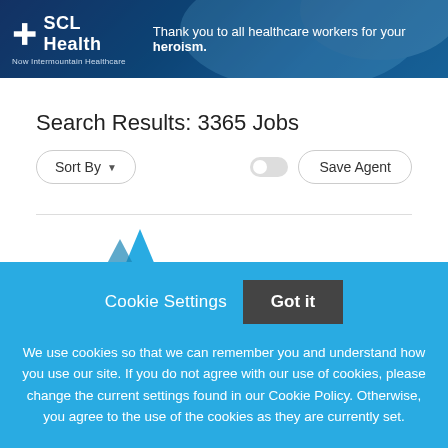[Figure (screenshot): SCL Health / Now Intermountain Healthcare banner with healthcare workers in background and tagline: Thank you to all healthcare workers for your heroism.]
Search Results: 3365 Jobs
Sort By | Save Agent controls row
[Figure (logo): Partial blue logo visible above cookie banner]
Cookie Settings   Got it
We use cookies so that we can remember you and understand how you use our site. If you do not agree with our use of cookies, please change the current settings found in our Cookie Policy. Otherwise, you agree to the use of the cookies as they are currently set.